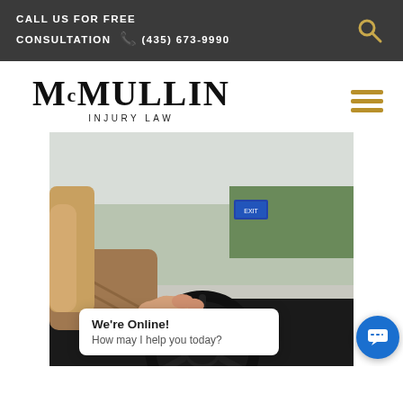CALL US FOR FREE CONSULTATION (435) 673-9990
MCMULLIN INJURY LAW
[Figure (photo): Person's hand gripping a car steering wheel, with a highway road visible through the windshield in the background.]
We're Online! How may I help you today?